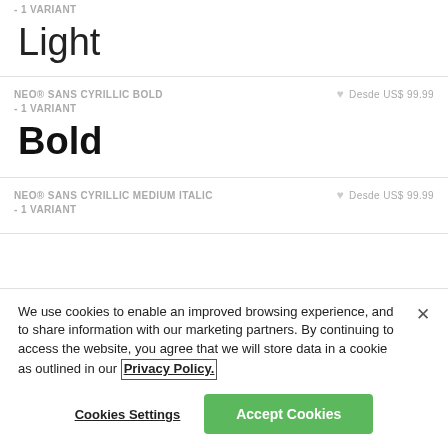- 1 VARIANT
Light
NEO® SANS CYRILLIC BOLD  -  1 VARIANT
Desde US$ 99.99
Bold
NEO® SANS CYRILLIC MEDIUM ITALIC  -  1 VARIANT
Desde US$ 99.99
We use cookies to enable an improved browsing experience, and to share information with our marketing partners. By continuing to access the website, you agree that we will store data in a cookie as outlined in our Privacy Policy.
Cookies Settings
Accept Cookies